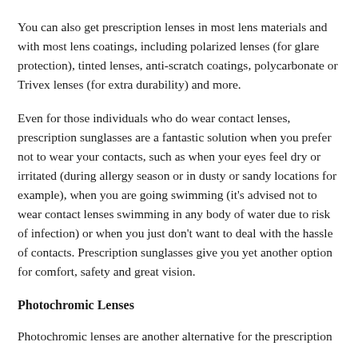You can also get prescription lenses in most lens materials and with most lens coatings, including polarized lenses (for glare protection), tinted lenses, anti-scratch coatings, polycarbonate or Trivex lenses (for extra durability) and more.
Even for those individuals who do wear contact lenses, prescription sunglasses are a fantastic solution when you prefer not to wear your contacts, such as when your eyes feel dry or irritated (during allergy season or in dusty or sandy locations for example), when you are going swimming (it's advised not to wear contact lenses swimming in any body of water due to risk of infection) or when you just don't want to deal with the hassle of contacts. Prescription sunglasses give you yet another option for comfort, safety and great vision.
Photochromic Lenses
Photochromic lenses are another alternative for the prescription